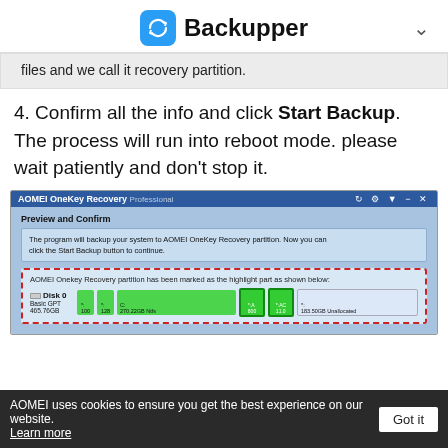Backupper
files and we call it recovery partition.
4. Confirm all the info and click Start Backup. The process will run into reboot mode. please wait patiently and don't stop it.
[Figure (screenshot): AOMEI OneKey Recovery Professional application window showing 'Preview and Confirm' screen with disk partition layout. Disk 0 Basic GPT 465.76GB with partitions: *: 100, *: 128, C: 270.22GB Ntfs, *:A 800, *:AC 11.0, *: 183.50GB Unallocated]
AOMEI uses cookies to ensure you get the best experience on our website. Learn more  Got it